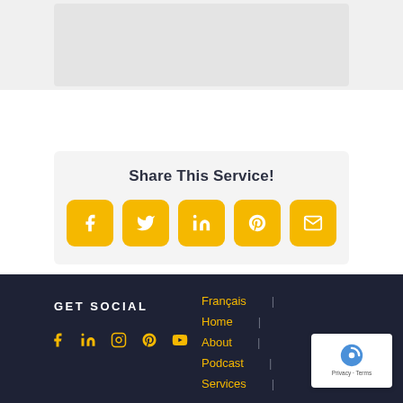[Figure (other): Gray placeholder image area at top of page]
Share This Service!
[Figure (infographic): Five yellow rounded square social share buttons: Facebook, Twitter, LinkedIn, Pinterest, Email]
GET SOCIAL
[Figure (infographic): Five yellow social media icons in footer: Facebook, LinkedIn, Instagram, Pinterest, YouTube]
Français  |
Home  |
About  |
Podcast  |
Services  |